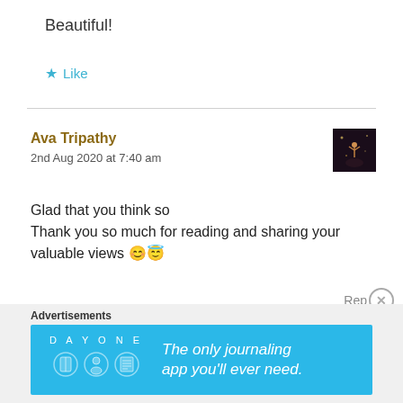Beautiful!
★ Like
Ava Tripathy
2nd Aug 2020 at 7:40 am
[Figure (photo): User avatar thumbnail showing a silhouette figure against a warm background]
Glad that you think so
Thank you so much for reading and sharing your valuable views 😊😇
★ Liked by 1 person
Reply
Advertisements
[Figure (screenshot): Day One journaling app advertisement banner with text: The only journaling app you'll ever need.]